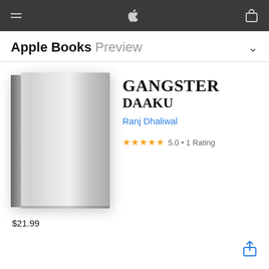Apple Books Preview
GANGSTER DAAKU
Ranj Dhaliwal
★★★★★ 5.0 • 1 Rating
[Figure (illustration): Gray book cover with no title text, shown as a 3D book standing upright with subtle gradient shading.]
$21.99
[Figure (other): Share icon (box with upward arrow) in blue, bottom right corner.]